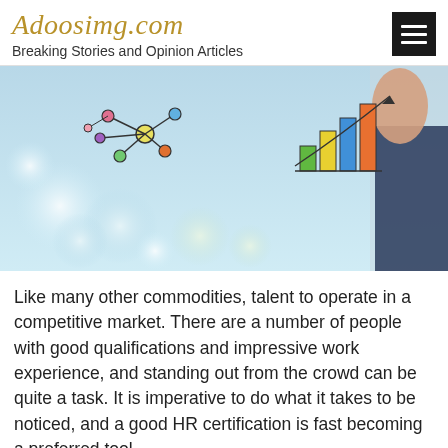Adoosimg.com — Breaking Stories and Opinion Articles
[Figure (illustration): Hero image showing a person drawing business growth charts, network diagrams, and cloud icons on a glass surface with a blurred bokeh background in blue and teal tones.]
Like many other commodities, talent to operate in a competitive market. There are a number of people with good qualifications and impressive work experience, and standing out from the crowd can be quite a task. It is imperative to do what it takes to be noticed, and a good HR certification is fast becoming a preferred tool, especially when it comes to high profile HR